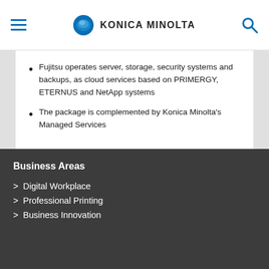KONICA MINOLTA
Fujitsu operates server, storage, security systems and backups, as cloud services based on PRIMERGY, ETERNUS and NetApp systems
The package is complemented by Konica Minolta's Managed Services
Business Areas
> Digital Workplace
> Professional Printing
> Business Innovation